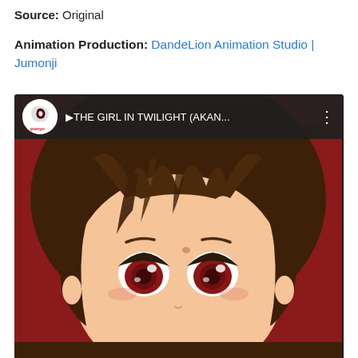Source: Original
Animation Production: DandeLion Animation Studio | Jumonji
[Figure (screenshot): YouTube video thumbnail screenshot showing an anime girl character from 'THE GIRL IN TWILIGHT (AKAN...' with a video player interface overlay including a channel icon and title bar at the top.]